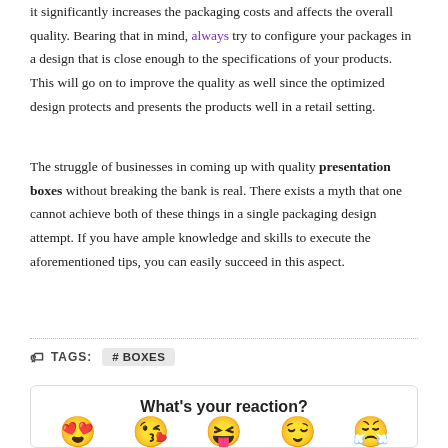it significantly increases the packaging costs and affects the overall quality. Bearing that in mind, always try to configure your packages in a design that is close enough to the specifications of your products. This will go on to improve the quality as well since the optimized design protects and presents the products well in a retail setting.
The struggle of businesses in coming up with quality presentation boxes without breaking the bank is real. There exists a myth that one cannot achieve both of these things in a single packaging design attempt. If you have ample knowledge and skills to execute the aforementioned tips, you can easily succeed in this aspect.
TAGS: #BOXES
What's your reaction?